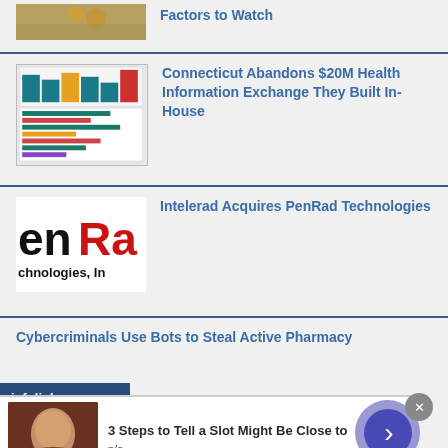[Figure (photo): Partial thumbnail image at top, showing golden/brown tones]
Factors to Watch
[Figure (screenshot): Screenshot of a health information exchange dashboard with colored bars and charts]
Connecticut Abandons $20M Health Information Exchange They Built In-House
[Figure (logo): PenRad Technologies logo showing 'enRa' in large text with 'chnologies, In' below]
Intelerad Acquires PenRad Technologies
Cybercriminals Use Bots to Steal Active Pharmacy
[Figure (other): Infolinks advertisement bar]
[Figure (photo): Ad overlay thumbnail showing a man's face]
3 Steps to Tell a Slot Might Be Close to
n/a
daily-winners.com